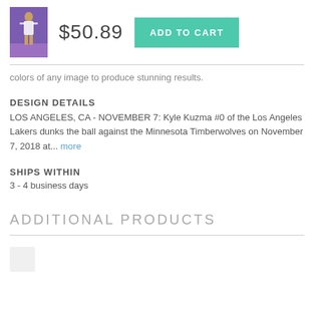[Figure (photo): Small product thumbnail showing basketball player dunking, Lakers jersey, purple background]
$50.89
ADD TO CART
colors of any image to produce stunning results.
DESIGN DETAILS
LOS ANGELES, CA - NOVEMBER 7: Kyle Kuzma #0 of the Los Angeles Lakers dunks the ball against the Minnesota Timberwolves on November 7, 2018 at... more
SHIPS WITHIN
3 - 4 business days
ADDITIONAL PRODUCTS